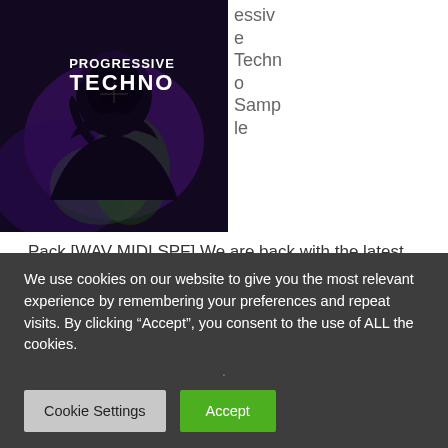[Figure (illustration): Album art for Progressive Techno sample pack. Dark purple/black background with a hooded figure and green highlights. Bold white text reads 'PROGRESSIVE TECHNO'.]
essive Techno Sample Pack [WAV MIDI SPF] We are back with the latest sample pack release 'Progressive Techno'. This techno sample pack has everything to keep you busy for create your next techno track. Inside you
We use cookies on our website to give you the most relevant experience by remembering your preferences and repeat visits. By clicking “Accept”, you consent to the use of ALL the cookies.
Cookie Settings
Accept